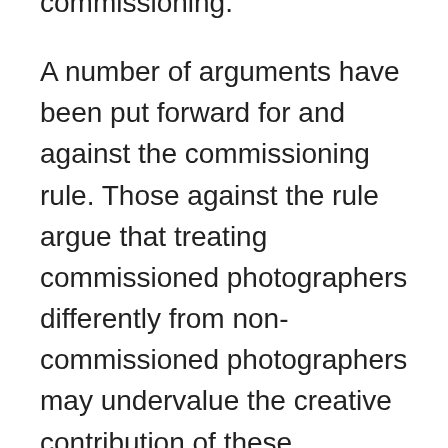commissioning.
A number of arguments have been put forward for and against the commissioning rule. Those against the rule argue that treating commissioned photographers differently from non-commissioned photographers may undervalue the creative contribution of these photographers. While the commissioner may have creative input into the creation of the photograph, it remains the photographer who ultimately decides the composition, light, point of focus and other specific settings that make the taking of a photograph an act of artistic creativity. On a more practical level,